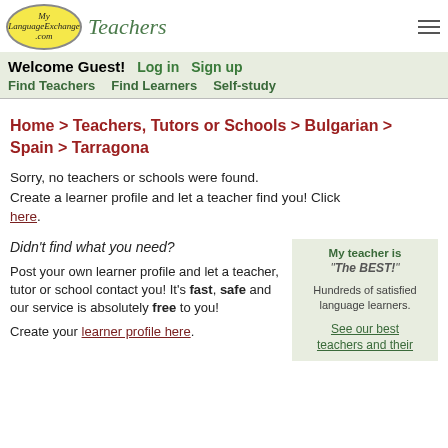[Figure (logo): MyLanguageExchange.com Teachers logo with yellow oval and green italic text]
Welcome Guest! Log in Sign up
Find Teachers Find Learners Self-study
Home > Teachers, Tutors or Schools > Bulgarian > Spain > Tarragona
Sorry, no teachers or schools were found. Create a learner profile and let a teacher find you! Click here.
Didn't find what you need?
Post your own learner profile and let a teacher, tutor or school contact you! It's fast, safe and our service is absolutely free to you!
Create your learner profile here.
My teacher is "The BEST!"
Hundreds of satisfied language learners.
See our best teachers and their